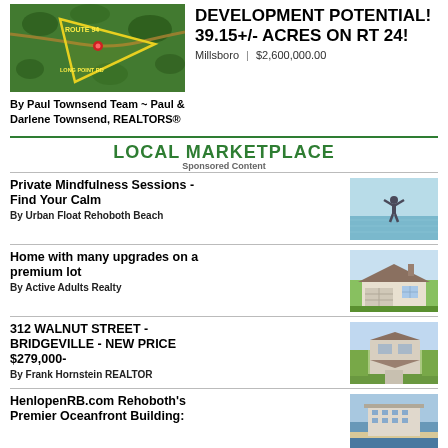[Figure (photo): Aerial map view of land parcel with yellow triangle boundary marker and Route 24 label]
By Paul Townsend Team ~ Paul & Darlene Townsend, REALTORS®
DEVELOPMENT POTENTIAL! 39.15+/- ACRES ON RT 24!
Millsboro | $2,600,000.00
LOCAL MARKETPLACE
Sponsored Content
Private Mindfulness Sessions - Find Your Calm
By Urban Float Rehoboth Beach
[Figure (photo): Person standing on water with arms raised in mindfulness pose]
Home with many upgrades on a premium lot
By Active Adults Realty
[Figure (photo): House exterior with garage on premium lot]
312 WALNUT STREET - BRIDGEVILLE - NEW PRICE $279,000-
By Frank Hornstein REALTOR
[Figure (photo): Aerial view of house at 312 Walnut Street Bridgeville]
HenlopenRB.com Rehoboth's Premier Oceanfront Building:
[Figure (photo): Aerial view of oceanfront building]